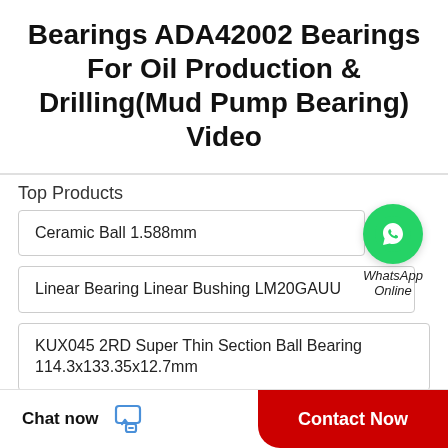Bearings ADA42002 Bearings For Oil Production & Drilling(Mud Pump Bearing) Video
Top Products
Ceramic Ball 1.588mm
[Figure (logo): WhatsApp Online green circle logo with phone icon, labeled WhatsApp Online]
Linear Bearing Linear Bushing LM20GAUU
KUX045 2RD Super Thin Section Ball Bearing 114.3x133.35x12.7mm
Chat now
Contact Now